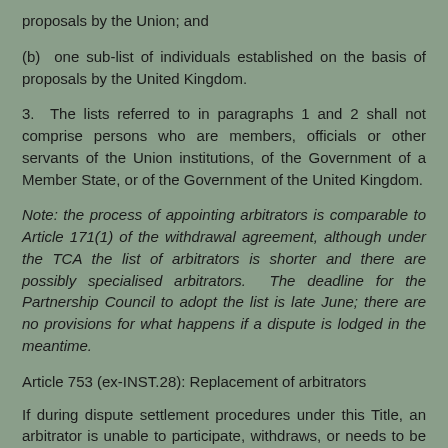proposals by the Union; and
(b) one sub-list of individuals established on the basis of proposals by the United Kingdom.
3. The lists referred to in paragraphs 1 and 2 shall not comprise persons who are members, officials or other servants of the Union institutions, of the Government of a Member State, or of the Government of the United Kingdom.
Note: the process of appointing arbitrators is comparable to Article 171(1) of the withdrawal agreement, although under the TCA the list of arbitrators is shorter and there are possibly specialised arbitrators. The deadline for the Partnership Council to adopt the list is late June; there are no provisions for what happens if a dispute is lodged in the meantime.
Article 753 (ex-INST.28): Replacement of arbitrators
If during dispute settlement procedures under this Title, an arbitrator is unable to participate, withdraws, or needs to be replaced because that arbitrator does not comply with the